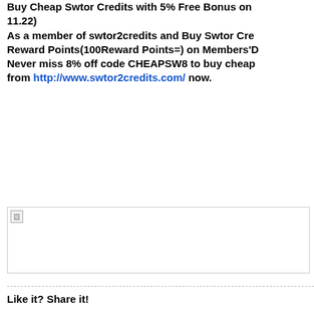Buy Cheap Swtor Credits with 5% Free Bonus on 11.22) As a member of swtor2credits and Buy Swtor Credits Reward Points(100Reward Points=) on Members'D Never miss 8% off code CHEAPSW8 to buy cheap from http://www.swtor2credits.com/ now.
[Figure (photo): Broken/missing image placeholder with small broken image icon in top-left corner]
Like it? Share it!